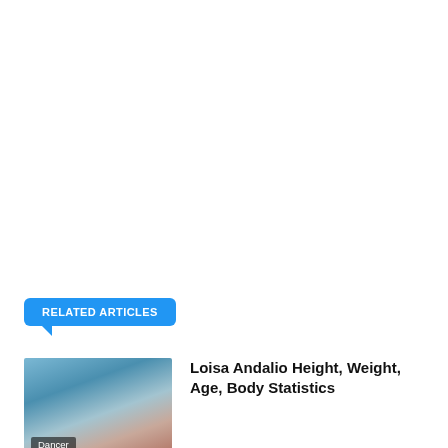RELATED ARTICLES
[Figure (photo): Photo of Loisa Andalio, a young woman taking a selfie in a car, with a 'Dancer' label badge at the bottom left of the thumbnail.]
Loisa Andalio Height, Weight, Age, Body Statistics